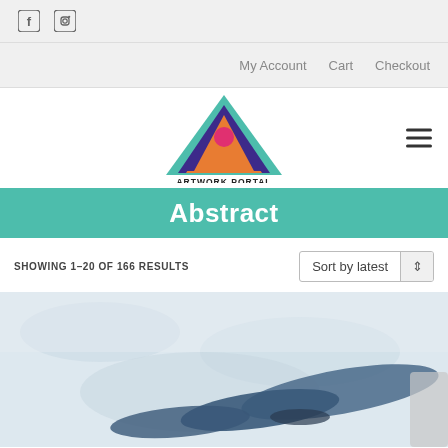Social icons: Facebook, Instagram
My Account  Cart  Checkout
[Figure (logo): Artwork Portal logo: colorful triangle with teal, indigo, orange colors and a pink circle, with text ARTWORK PORTAL below]
Abstract
SHOWING 1–20 OF 166 RESULTS
Sort by latest
[Figure (photo): Abstract artwork photo showing blue-grey brushstroke or wash on pale background]